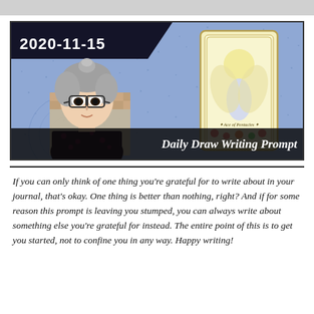[Figure (illustration): Blog post header image dated 2020-11-15 showing an anime-style avatar of an older woman with gray hair and glasses, wearing a black patterned top, alongside a tarot card (Ace of Pentacles) on a blue speckled background. Text at bottom reads 'Daily Draw Writing Prompt'.]
If you can only think of one thing you're grateful for to write about in your journal, that's okay. One thing is better than nothing, right? And if for some reason this prompt is leaving you stumped, you can always write about something else you're grateful for instead. The entire point of this is to get you started, not to confine you in any way. Happy writing!